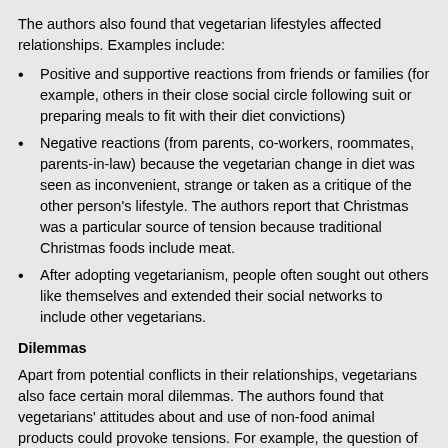The authors also found that vegetarian lifestyles affected relationships. Examples include:
Positive and supportive reactions from friends or families (for example, others in their close social circle following suit or preparing meals to fit with their diet convictions)
Negative reactions (from parents, co-workers, roommates, parents-in-law) because the vegetarian change in diet was seen as inconvenient, strange or taken as a critique of the other person's lifestyle. The authors report that Christmas was a particular source of tension because traditional Christmas foods include meat.
After adopting vegetarianism, people often sought out others like themselves and extended their social networks to include other vegetarians.
Dilemmas
Apart from potential conflicts in their relationships, vegetarians also face certain moral dilemmas. The authors found that vegetarians' attitudes about and use of non-food animal products could provoke tensions. For example, the question of whether to wear leather clothes troubled some of the respondents. If they opposed eating meat on moral or environmental grounds, then using animal-based products was not consistent with their commitments. In reaction to this,